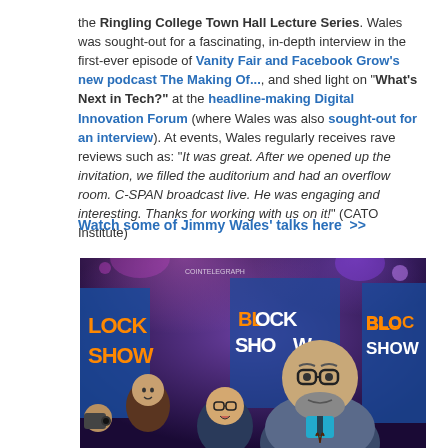the Ringling College Town Hall Lecture Series. Wales was sought-out for a fascinating, in-depth interview in the first-ever episode of Vanity Fair and Facebook Grow's new podcast The Making Of..., and shed light on "What's Next in Tech?" at the headline-making Digital Innovation Forum (where Wales was also sought-out for an interview). At events, Wales regularly receives rave reviews such as: "It was great. After we opened up the invitation, we filled the auditorium and had an overflow room. C-SPAN broadcast live. He was engaging and interesting. Thanks for working with us on it!" (CATO Institute)
Watch some of Jimmy Wales' talks here >>
[Figure (photo): Photo of Jimmy Wales at a blockchain show event, illustrated style with multiple people including Wales prominently in the foreground wearing glasses, with 'BLOCKSHOW' branding visible in the background]